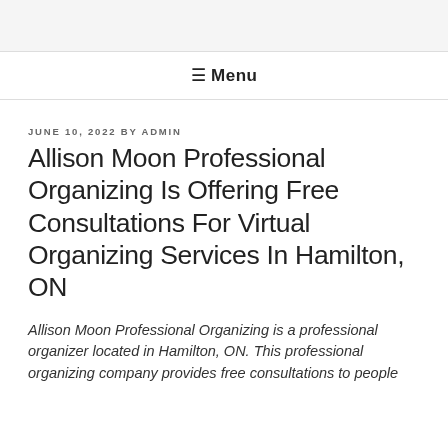☰ Menu
JUNE 10, 2022 BY ADMIN
Allison Moon Professional Organizing Is Offering Free Consultations For Virtual Organizing Services In Hamilton, ON
Allison Moon Professional Organizing is a professional organizer located in Hamilton, ON. This professional organizing company provides free consultations to people